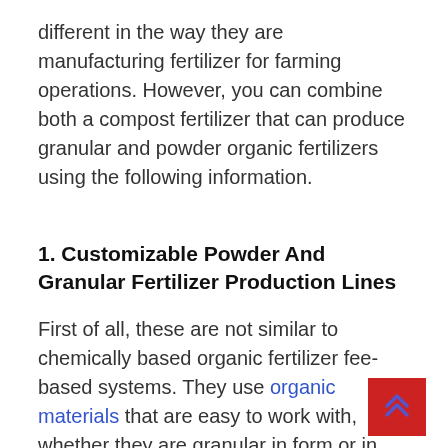different in the way they are manufacturing fertilizer for farming operations. However, you can combine both a compost fertilizer that can produce granular and powder organic fertilizers using the following information.
1. Customizable Powder And Granular Fertilizer Production Lines
First of all, these are not similar to chemically based organic fertilizer fee-based systems. They use organic materials that are easy to work with, whether they are granular in form or in powder form. In fact, solid fertilizer can either be powdered or